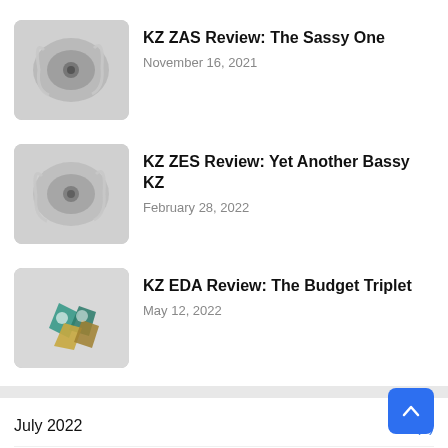[Figure (photo): Earphones/IEMs coiled with cable on gray surface - KZ ZAS]
KZ ZAS Review: The Sassy One
November 16, 2021
[Figure (photo): Earphones/IEMs coiled with cable on gray surface - KZ ZES]
KZ ZES Review: Yet Another Bassy KZ
February 28, 2022
[Figure (photo): Multiple earphone units with teal and gold housings - KZ EDA]
KZ EDA Review: The Budget Triplet
May 12, 2022
July 2022 (1)
May 2022 (4)
April 2022 (5)
March 2022